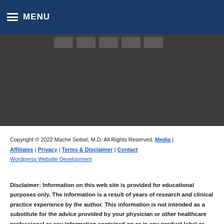MENU
Copyright © 2022 Mache Seibel, M.D. All Rights Reserved. Media | Affiliates | Privacy | Terms & Disclaimer | Contact
Wordpress Website Development
Disclaimer: Information on this web site is provided for educational purposes only. The information is a result of years of research and clinical practice experience by the author. This information is not intended as a substitute for the advice provided by your physician or other healthcare professional or any information contained on or in any product label or packaging. Do not use the information on this web site for diagnosing or treating a health problem or disease, or prescribing medication or other treatment. Always